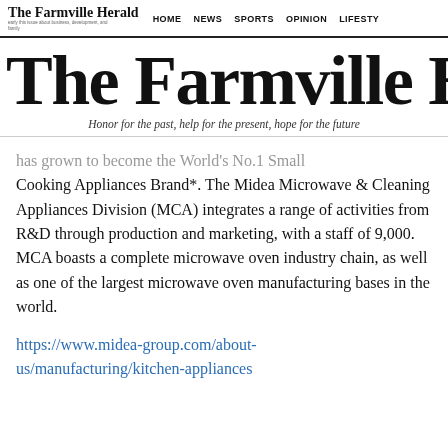The Farmville Herald | HOME | NEWS | SPORTS | OPINION | LIFESTYLE
The Farmville Her
Honor for the past, help for the present, hope for the future
has grown to become the World's No.1 Small Cooking Appliances Brand*. The Midea Microwave & Cleaning Appliances Division (MCA) integrates a range of activities from R&D through production and marketing, with a staff of 9,000. MCA boasts a complete microwave oven industry chain, as well as one of the largest microwave oven manufacturing bases in the world.
https://www.midea-group.com/about-us/manufacturing/kitchen-appliances